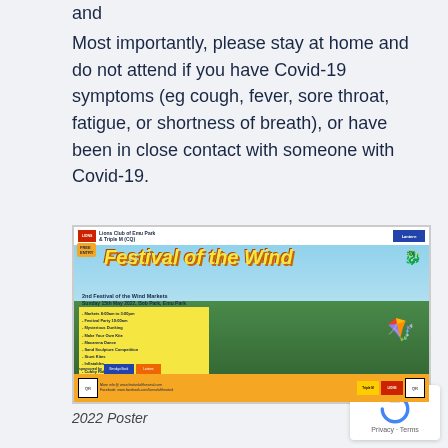and
Most importantly, please stay at home and do not attend if you have Covid-19 symptoms (eg cough, fever, sore throat, fatigue, or shortness of breath), or have been in close contact with someone with Covid-19.
[Figure (photo): Festival of the Wind 2022 poster. Lions Club of Emu Park & Triple M (CQ). 2nd Festival of the Wind Markets, Sunday 15th May 2022, Bob Park, Emu Park. Colourful event poster with kite dragon graphic.]
2022 Poster